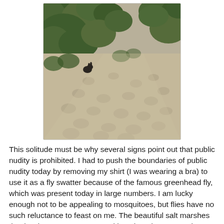[Figure (photo): Outdoor sandy path with footprints, bordered by green grassy dune vegetation. A small dark rabbit is visible in the middle-left area near the grass. The scene appears to be a beach or dune trail.]
This solitude must be why several signs point out that public nudity is prohibited. I had to push the boundaries of public nudity today by removing my shirt (I was wearing a bra) to use it as a fly swatter because of the famous greenhead fly, which was present today in large numbers. I am lucky enough not to be appealing to mosquitoes, but flies have no such reluctance to feast on me. The beautiful salt marshes that border so many Cape Cod beaches do not contain